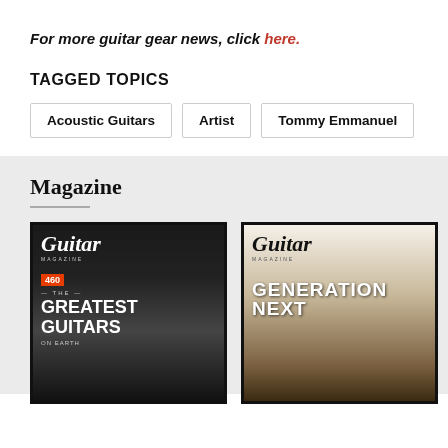For more guitar gear news, click here.
TAGGED TOPICS
Acoustic Guitars
Artist
Tommy Emmanuel
Magazine
[Figure (photo): Two Guitar Magazine covers side by side. Left cover shows 'THE GREATEST GUITARS ON EARTH' with a guitar image. Right cover shows 'GENERATION NEXT' with acoustic guitar and amplifier.]